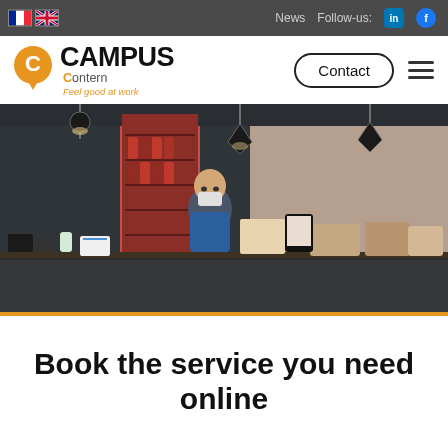News  Follow-us:  [LinkedIn] [Facebook]
[Figure (logo): Campus Contern logo with orange map pin icon, tagline 'Feel good at work']
Contact
[Figure (photo): Interior of a café/workplace cafeteria counter with a masked worker behind the counter, pendant lights above, food and drink items displayed]
Book the service you need online